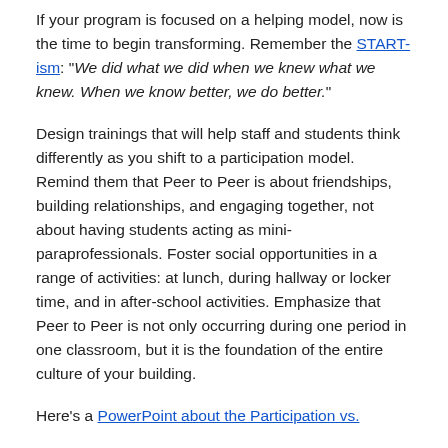If your program is focused on a helping model, now is the time to begin transforming. Remember the START-ism: "We did what we did when we knew what we knew. When we know better, we do better."
Design trainings that will help staff and students think differently as you shift to a participation model. Remind them that Peer to Peer is about friendships, building relationships, and engaging together, not about having students acting as mini-paraprofessionals. Foster social opportunities in a range of activities: at lunch, during hallway or locker time, and in after-school activities. Emphasize that Peer to Peer is not only occurring during one period in one classroom, but it is the foundation of the entire culture of your building.
Here's a PowerPoint about the Participation vs.